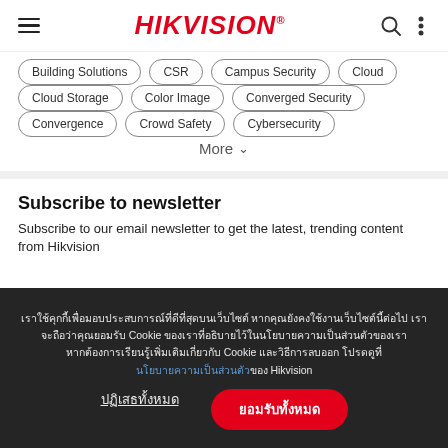HIKVISION
Building Solutions
CSR
Campus Security
Cloud
Cloud Storage
Color Image
Converged Security
Convergence
Crowd Safety
Cybersecurity
More
Subscribe to newsletter
Subscribe to our email newsletter to get the latest, trending content from Hikvision
Cookie notice text in Thai script with link and accept/decline buttons